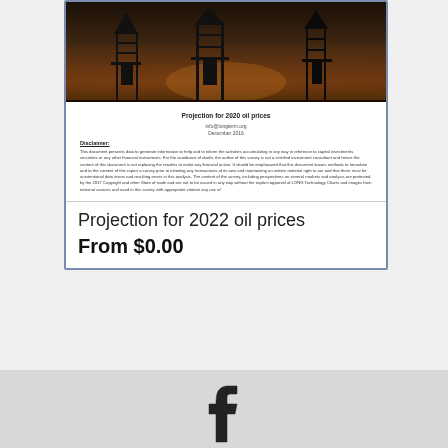[Figure (screenshot): Screenshot of a product listing card for 'Projection for 2022 oil prices' showing a thumbnail of an oil rig photo at the top, a mini document preview with title 'Projection for 2020 oil prices' and disclaimer text, product title 'Projection for 2022 oil prices', and price 'From $0.00']
Tags: drones, 2017, archive
[Figure (logo): Facebook logo icon (f) in dark outline style on light gray footer background]